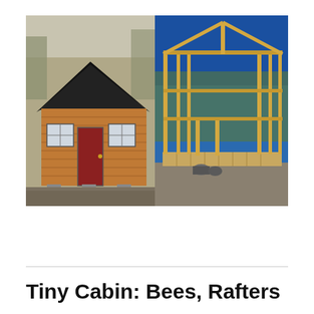[Figure (photo): Two side-by-side photographs. Left photo: a completed small cabin with cedar shingle siding, dark roof, red door, and two windows, sitting on gravel. Right photo: the wood framing/skeleton of a small building under construction on a gravel site under a clear blue sky.]
Tiny Cabin: Bees, Rafters